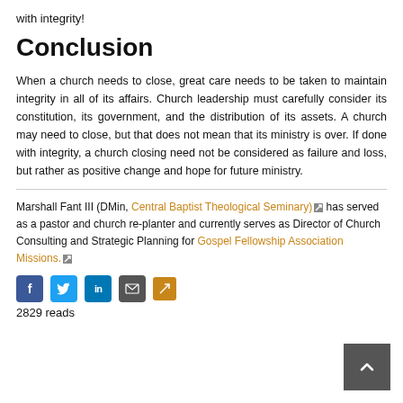with integrity!
Conclusion
When a church needs to close, great care needs to be taken to maintain integrity in all of its affairs. Church leadership must carefully consider its constitution, its government, and the distribution of its assets. A church may need to close, but that does not mean that its ministry is over. If done with integrity, a church closing need not be considered as failure and loss, but rather as positive change and hope for future ministry.
Marshall Fant III (DMin, Central Baptist Theological Seminary) has served as a pastor and church re-planter and currently serves as Director of Church Consulting and Strategic Planning for Gospel Fellowship Association Missions.
2829 reads